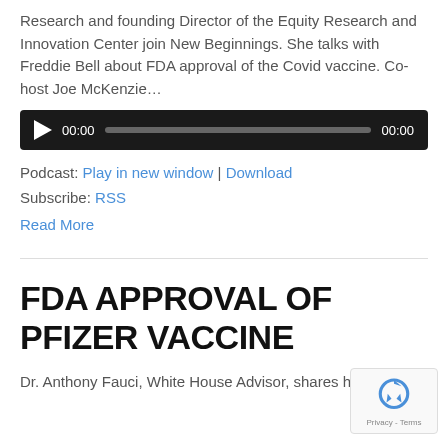Research and founding Director of the Equity Research and Innovation Center join New Beginnings. She talks with Freddie Bell about FDA approval of the Covid vaccine. Co-host Joe McKenzie…
[Figure (other): Audio player widget with dark background, play button, progress bar, and timestamps 00:00 on both sides]
Podcast: Play in new window | Download
Subscribe: RSS
Read More
FDA APPROVAL OF PFIZER VACCINE
Dr. Anthony Fauci, White House Advisor, shares his views